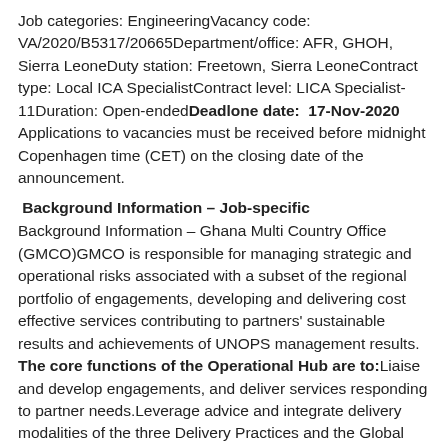Job categories: EngineeringVacancy code: VA/2020/B5317/20665Department/office: AFR, GHOH, Sierra LeoneDuty station: Freetown, Sierra LeoneContract type: Local ICA SpecialistContract level: LICA Specialist-11Duration: Open-endedDeadlone date:  17-Nov-2020 Applications to vacancies must be received before midnight Copenhagen time (CET) on the closing date of the announcement.
Background Information – Job-specific
Background Information – Ghana Multi Country Office (GMCO)GMCO is responsible for managing strategic and operational risks associated with a subset of the regional portfolio of engagements, developing and delivering cost effective services contributing to partners' sustainable results and achievements of UNOPS management results. The core functions of the Operational Hub are to:Liaise and develop engagements, and deliver services responding to partner needs.Leverage advice and integrate delivery modalities of the three Delivery Practices and the Global Partner Service Office.Maintain appropriate arrangements and capacity for direct transactional support for delivery of